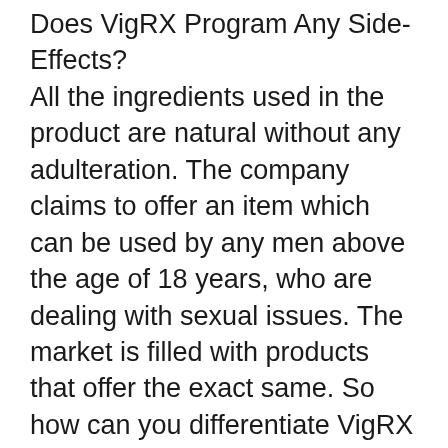Does VigRX Program Any Side-Effects?
All the ingredients used in the product are natural without any adulteration. The company claims to offer an item which can be used by any men above the age of 18 years, who are dealing with sexual issues. The market is filled with products that offer the exact same. So how can you differentiate VigRX Plus from other supplements?
The brand has been approved by a main review board that prices estimate VigRX as efficient and safe in fixing significant sexual issues. And second of all, there are no cases registered with the business that mentions any side-effects. People may have a small headache after its use but it fades away in no time.